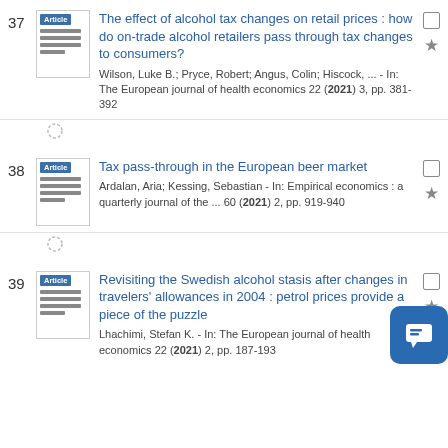37 The effect of alcohol tax changes on retail prices : how do on-trade alcohol retailers pass through tax changes to consumers? Wilson, Luke B.; Pryce, Robert; Angus, Colin; Hiscock, ... - In: The European journal of health economics 22 (2021) 3, pp. 381-392
38 Tax pass-through in the European beer market Ardalan, Aria; Kessing, Sebastian - In: Empirical economics : a quarterly journal of the ... 60 (2021) 2, pp. 919-940
39 Revisiting the Swedish alcohol stasis after changes in travelers' allowances in 2004 : petrol prices provide a piece of the puzzle Lhachimi, Stefan K. - In: The European journal of health economics 22 (2021) 2, pp. 187-193